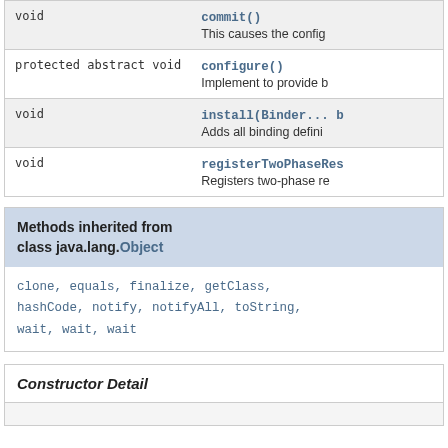| Type | Method and Description |
| --- | --- |
| void | commit()
This causes the config |
| protected abstract void | configure()
Implement to provide b |
| void | install(Binder... b
Adds all binding defini |
| void | registerTwoPhaseRes
Registers two-phase re |
Methods inherited from class java.lang.Object
clone, equals, finalize, getClass, hashCode, notify, notifyAll, toString, wait, wait, wait
Constructor Detail